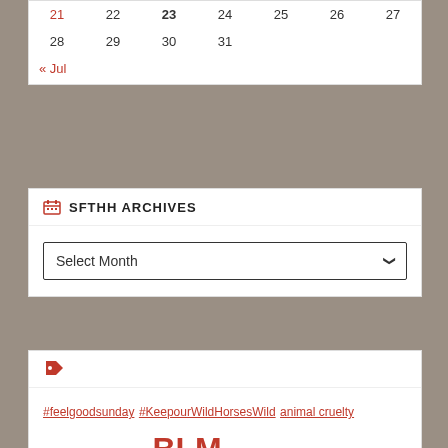| 21 | 22 | 23 | 24 | 25 | 26 | 27 |
| 28 | 29 | 30 | 31 |  |  |  |
« Jul
SFTHH ARCHIVES
Select Month
#feelgoodsunday #KeepourWildHorsesWild animal cruelty Animal welfare BLM Bob Abbey Bureau of Land Management burro Canada Carol Walker Cattle Cattoor Christmas cloud foundation Cruelty to animals